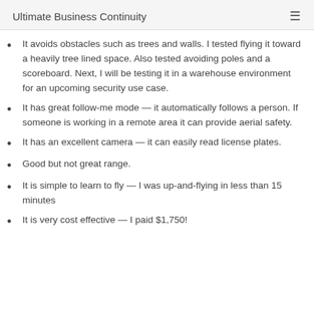Ultimate Business Continuity
It avoids obstacles such as trees and walls. I tested flying it toward a heavily tree lined space. Also tested avoiding poles and a scoreboard. Next, I will be testing it in a warehouse environment for an upcoming security use case.
It has great follow-me mode — it automatically follows a person. If someone is working in a remote area it can provide aerial safety.
It has an excellent camera — it can easily read license plates.
Good but not great range.
It is simple to learn to fly — I was up-and-flying in less than 15 minutes
It is very cost effective — I paid $1,750!